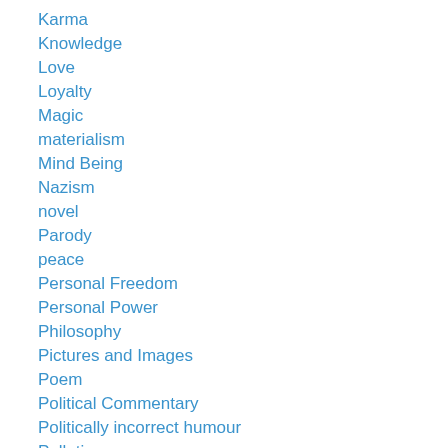Karma
Knowledge
Love
Loyalty
Magic
materialism
Mind Being
Nazism
novel
Parody
peace
Personal Freedom
Personal Power
Philosophy
Pictures and Images
Poem
Political Commentary
Politically incorrect humour
Pollution
Prophecy